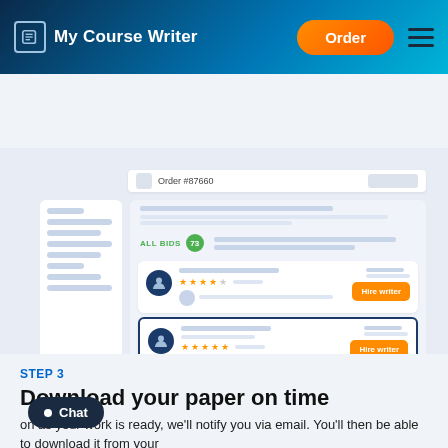My Course Writer — Order button — Navigation
[Figure (screenshot): Screenshot of MyCourseWriter platform showing Order #87660 with writer bids list. Shows 'ALL BIDS 73' badge, three writer cards each with avatar, star ratings, and orange 'Hire writer' buttons. Second card is selected/highlighted with border. A cursor is hovering over the second writer card.]
STEP 3
Download your paper on time
on as your work is ready, we'll notify you via email. You'll then be able to download it from your